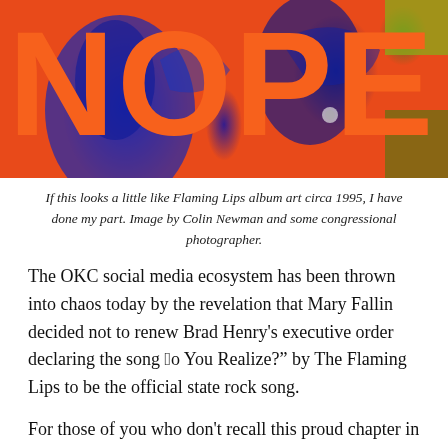[Figure (illustration): Colorful pop-art style image with large orange letters spelling NOPE on a red background with blue and green abstract overlays suggesting birds or figures in the background]
If this looks a little like Flaming Lips album art circa 1995, I have done my part. Image by Colin Newman and some congressional photographer.
The OKC social media ecosystem has been thrown into chaos today by the revelation that Mary Fallin decided not to renew Brad Henry’s executive order declaring the song “Do You Realize?” by The Flaming Lips to be the official state rock song.
For those of you who don't recall this proud chapter in our state's storied history, the Oklahoma Historical Center had a big exhibit on the history of Rock and Roll in Oklahoma, of which there is plenty. As a promotional stunt to promote the exhibit, they had a